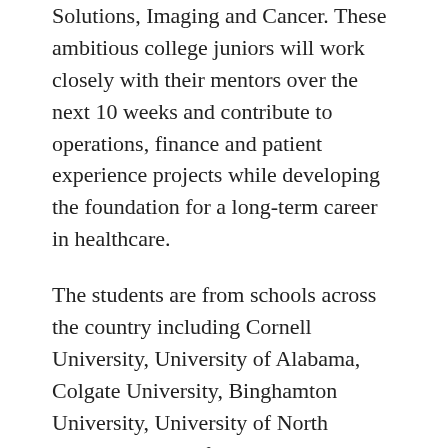Solutions, Imaging and Cancer. These ambitious college juniors will work closely with their mentors over the next 10 weeks and contribute to operations, finance and patient experience projects while developing the foundation for a long-term career in healthcare.
The students are from schools across the country including Cornell University, University of Alabama, Colgate University, Binghamton University, University of North Carolina, and Hofstra University among others. They develop an understanding of healthcare administration through hands-on projects such as capital planning, throughput initiatives, utilization & costs effectiveness analysis, redesigning of hospital units, new facility